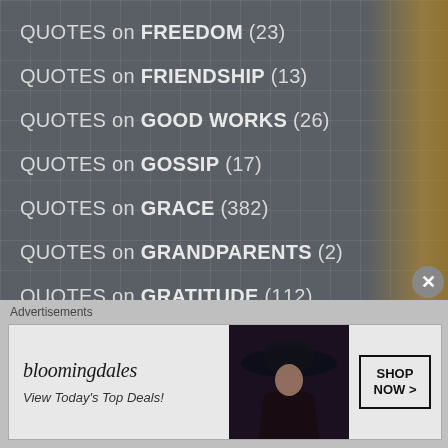QUOTES on FREEDOM (23)
QUOTES on FRIENDSHIP (13)
QUOTES on GOOD WORKS (26)
QUOTES on GOSSIP (17)
QUOTES on GRACE (382)
QUOTES on GRANDPARENTS (2)
QUOTES on GRATITUDE (112)
QUOTES on GREED, WEALTH (28)
QUOTES on HAPPINESS (39)
QUOTES on HEAVEN (254)
QUOTES on HELL (100)
Advertisements
[Figure (infographic): Bloomingdale's advertisement banner: logo text 'bloomingdales', tagline 'View Today's Top Deals!', image of woman in hat, and 'SHOP NOW >' button]